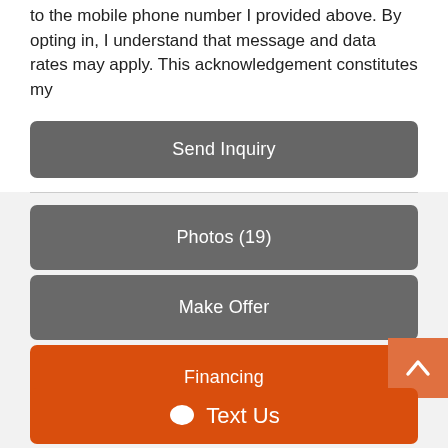to the mobile phone number I provided above. By opting in, I understand that message and data rates may apply. This acknowledgement constitutes my written consent to receive automated text messages...
Send Inquiry
Photos (19)
Make Offer
Financing
Share to Social Media
Text Us